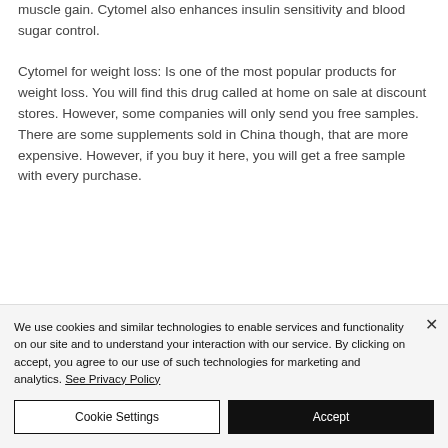muscle gain. Cytomel also enhances insulin sensitivity and blood sugar control.
Cytomel for weight loss: Is one of the most popular products for weight loss. You will find this drug called at home on sale at discount stores. However, some companies will only send you free samples. There are some supplements sold in China though, that are more expensive. However, if you buy it here, you will get a free sample with every purchase.
We use cookies and similar technologies to enable services and functionality on our site and to understand your interaction with our service. By clicking on accept, you agree to our use of such technologies for marketing and analytics. See Privacy Policy